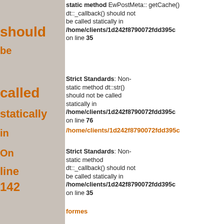static method EwPostMeta::getCache() dt::_callback() should not be called statically in /home/clients/1d242f8790072fdd395c on line 35
Strict Standards: Non-static method dt::str() should not be called statically in /home/clients/1d242f8790072fdd395c on line 76
Strict Standards: Non-static method dt::_callback() should not be called statically in /home/clients/1d242f8790072fdd395c on line 35
Strict Standards: Non-static method dt::_callback() should not be called statically in /home/clients/1d242f8790072fdd395c on line 35
Strict Standards: Non-static method dt::str() should not be called statically in /home/clients/1d242f8790072fdd395c